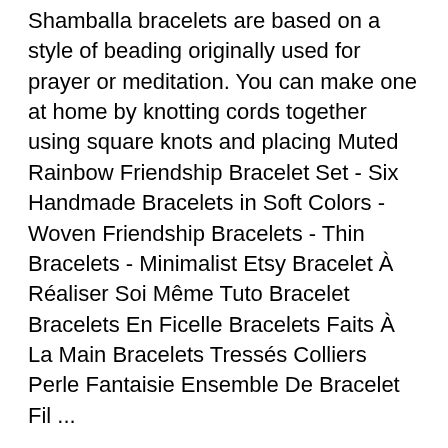Shamballa bracelets are based on a style of beading originally used for prayer or meditation. You can make one at home by knotting cords together using square knots and placing Muted Rainbow Friendship Bracelet Set - Six Handmade Bracelets in Soft Colors - Woven Friendship Bracelets - Thin Bracelets - Minimalist Etsy Bracelet À Réaliser Soi Même Tuto Bracelet Bracelets En Ficelle Bracelets Faits À La Main Bracelets Tressés Colliers Perle Fantaisie Ensemble De Bracelet Fil ...
96 résultats pour kit bracelet shamballa Enregistrez la recherche kit bracelet shamballa pour recevoir des alertes par e-mail et des mises à jour sur votre fil shopping. Désabonnez-vous à kit bracelet shamballa pour ne plus recevoir de